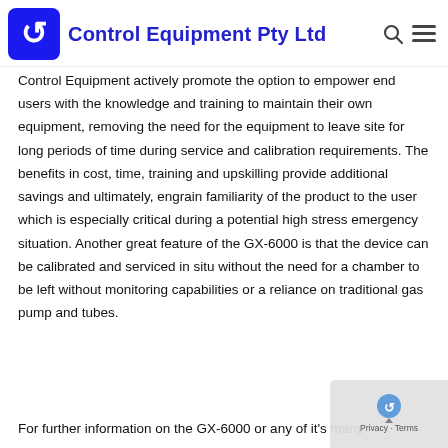Control Equipment Pty Ltd
Control Equipment actively promote the option to empower end users with the knowledge and training to maintain their own equipment, removing the need for the equipment to leave site for long periods of time during service and calibration requirements. The benefits in cost, time, training and upskilling provide additional savings and ultimately, engrain familiarity of the product to the user which is especially critical during a potential high stress emergency situation. Another great feature of the GX-6000 is that the device can be calibrated and serviced in situ without the need for a chamber to be left without monitoring capabilities or a reliance on traditional gas pump and tubes.
For further information on the GX-6000 or any of it's many